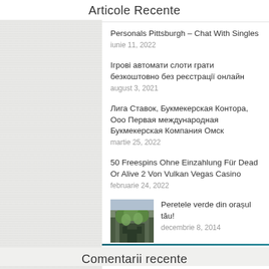Articole Recente
Personals Pittsburgh – Chat With Singles
iunie 11, 2022
Ігрові автомати слоти грати безкоштовно без реєстрації онлайн
august 3, 2021
Лига Ставок, Букмекерская Контора, Ооо Первая международная Букмекерская Компания Омск
mart ie 25, 2022
50 Freespins Ohne Einzahlung Für Dead Or Alive 2 Von Vulkan Vegas Casino
februarie 24, 2022
Peretele verde din orașul tău!
decem brie 8, 2014
Comentarii recente